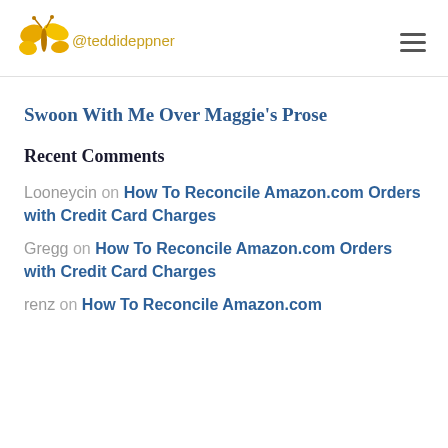@teddideppner
Swoon With Me Over Maggie's Prose
Recent Comments
Looneycin on How To Reconcile Amazon.com Orders with Credit Card Charges
Gregg on How To Reconcile Amazon.com Orders with Credit Card Charges
renz on How To Reconcile Amazon.com